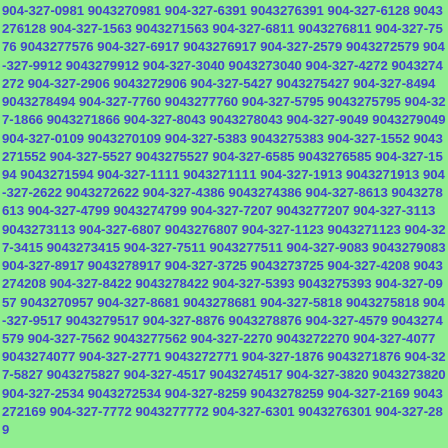904-327-0981 9043270981 904-327-6391 9043276391 904-327-6128 9043276128 904-327-1563 9043271563 904-327-6811 9043276811 904-327-7576 9043277576 904-327-6917 9043276917 904-327-2579 9043272579 904-327-9912 9043279912 904-327-3040 9043273040 904-327-4272 9043274272 904-327-2906 9043272906 904-327-5427 9043275427 904-327-8494 9043278494 904-327-7760 9043277760 904-327-5795 9043275795 904-327-1866 9043271866 904-327-8043 9043278043 904-327-9049 9043279049 904-327-0109 9043270109 904-327-5383 9043275383 904-327-1552 9043271552 904-327-5527 9043275527 904-327-6585 9043276585 904-327-1594 9043271594 904-327-1111 9043271111 904-327-1913 9043271913 904-327-2622 9043272622 904-327-4386 9043274386 904-327-8613 9043278613 904-327-4799 9043274799 904-327-7207 9043277207 904-327-3113 9043273113 904-327-6807 9043276807 904-327-1123 9043271123 904-327-3415 9043273415 904-327-7511 9043277511 904-327-9083 9043279083 904-327-8917 9043278917 904-327-3725 9043273725 904-327-4208 9043274208 904-327-8422 9043278422 904-327-5393 9043275393 904-327-0957 9043270957 904-327-8681 9043278681 904-327-5818 9043275818 904-327-9517 9043279517 904-327-8876 9043278876 904-327-4579 9043274579 904-327-7562 9043277562 904-327-2270 9043272270 904-327-4077 9043274077 904-327-2771 9043272771 904-327-1876 9043271876 904-327-5827 9043275827 904-327-4517 9043274517 904-327-3820 9043273820 904-327-2534 9043272534 904-327-8259 9043278259 904-327-2169 9043272169 904-327-7772 9043277772 904-327-6301 9043276301 904-327-289